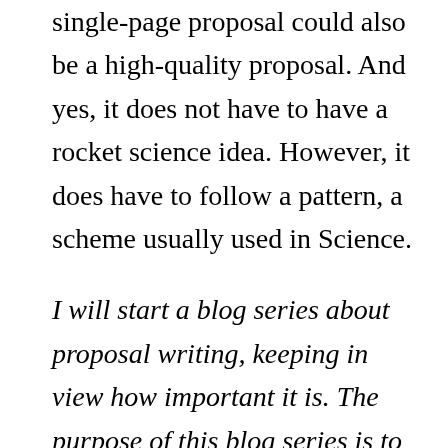single-page proposal could also be a high-quality proposal. And yes, it does not have to have a rocket science idea. However, it does have to follow a pattern, a scheme usually used in Science.
I will start a blog series about proposal writing, keeping in view how important it is. The purpose of this blog series is to take you through a journey of transformation from knowing nothing about proposal writing to being proficient at it. Proposal writing skills